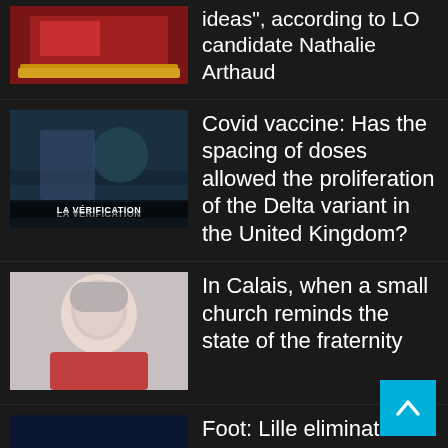ideas", according to LO candidate Nathalie Arthaud
Covid vaccine: Has the spacing of doses allowed the proliferation of the Delta variant in the United Kingdom?
In Calais, when a small church reminds the state of the fraternity
Foot: Lille eliminated in the knockout stages of the Champions League after their home defeat against Chelsea